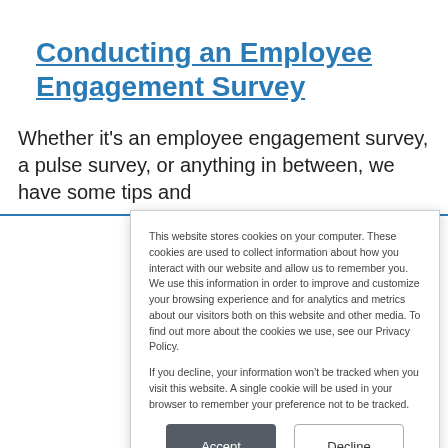Conducting an Employee Engagement Survey
Whether it’s an employee engagement survey, a pulse survey, or anything in between, we have some tips and
This website stores cookies on your computer. These cookies are used to collect information about how you interact with our website and allow us to remember you. We use this information in order to improve and customize your browsing experience and for analytics and metrics about our visitors both on this website and other media. To find out more about the cookies we use, see our Privacy Policy.

If you decline, your information won’t be tracked when you visit this website. A single cookie will be used in your browser to remember your preference not to be tracked.
Accept | Decline